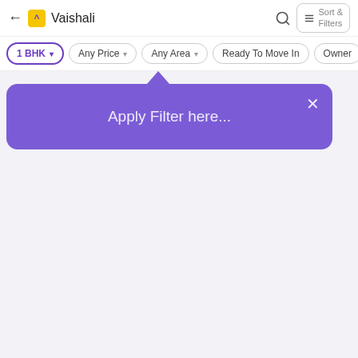← [logo] Vaishali  🔍  Sort & Filters
1 BHK ▾  |  Any Price ▾  |  Any Area ▾  |  Ready To Move In  |  Owner
[Figure (screenshot): Purple dropdown tooltip popup with text 'Apply Filter here...' and a close X button in the top right corner. A purple upward-pointing triangle arrow connects the popup to the 'Any Area' filter chip above.]